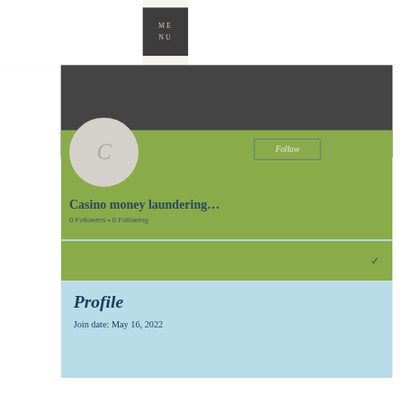[Figure (screenshot): Social media profile page screenshot showing a user profile for 'Casino money laundering...' with 0 Followers and 0 Following, a Follow button, profile avatar with letter C, green and blue background sections, and a Profile section showing Join date: May 16, 2022. Also shows a dark gray MENU button in top right corner.]
ME
NU
Follow
Casino money laundering...
0 Followers • 0 Following
Profile
Join date: May 16, 2022